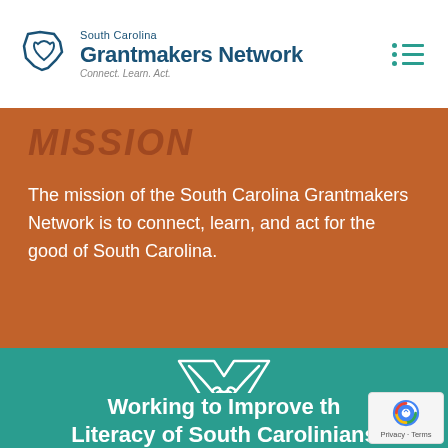South Carolina Grantmakers Network — Connect. Learn. Act.
Mission
The mission of the South Carolina Grantmakers Network is to connect, learn, and act for the good of South Carolina.
[Figure (illustration): White outline icon of two hands clasped/interlocked in an X shape, on teal background]
Working to Improve the Literacy of South Carolinians